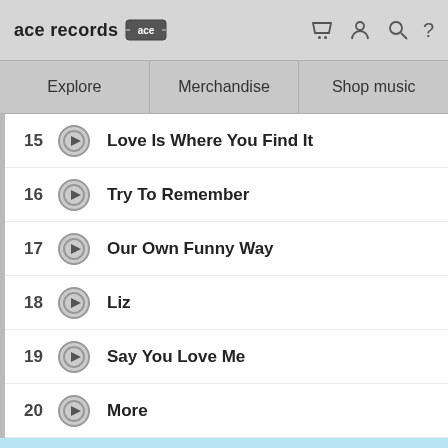ace records [logo] [cart] [user] [search] [?]
| Explore | Merchandise | Shop music |
| --- | --- | --- |
15  Love Is Where You Find It
16  Try To Remember
17  Our Own Funny Way
18  Liz
19  Say You Love Me
20  More
Please note our website uses cookies to improve your experience. I understand. For more information see our Privacy Notice & Cookie Policy.